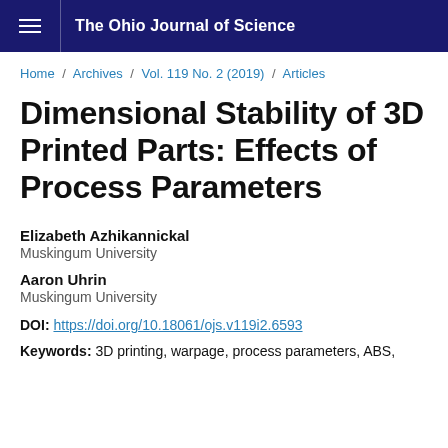The Ohio Journal of Science
Home / Archives / Vol. 119 No. 2 (2019) / Articles
Dimensional Stability of 3D Printed Parts: Effects of Process Parameters
Elizabeth Azhikannickal
Muskingum University
Aaron Uhrin
Muskingum University
DOI: https://doi.org/10.18061/ojs.v119i2.6593
Keywords: 3D printing, warpage, process parameters, ABS,